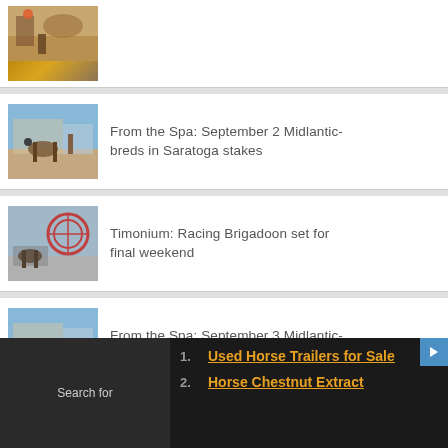[Figure (photo): Horse racing photo - partial view at top]
From the Spa: September 2 Midlantic-breds in Saratoga stakes
[Figure (photo): Horse racing at Saratoga track with grandstand]
Timonium: Racing Brigadoon set for final weekend
[Figure (photo): Horse racing at Timonium with Ferris wheel in background]
From the Spa: September 3 Midlantic-breds in Saratoga stakes
[Figure (photo): Horse racing at Saratoga - partial view]
Search for
1. Used Horse Trailers for Sale
2. Horse Chestnut Extract